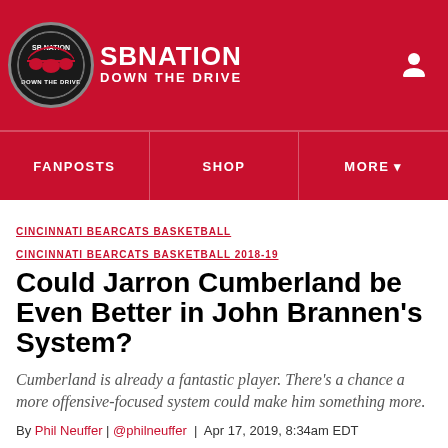SB NATION | DOWN THE DRIVE
FANPOSTS   SHOP   MORE
CINCINNATI BEARCATS BASKETBALL   CINCINNATI BEARCATS BASKETBALL 2018-19
Could Jarron Cumberland be Even Better in John Brannen’s System?
Cumberland is already a fantastic player. There’s a chance a more offensive-focused system could make him something more.
By Phil Neuffer | @philneuffer | Apr 17, 2019, 8:34am EDT
If you buy something from an SB Nation link, Vox Media may earn a commission. See our ethics statement.